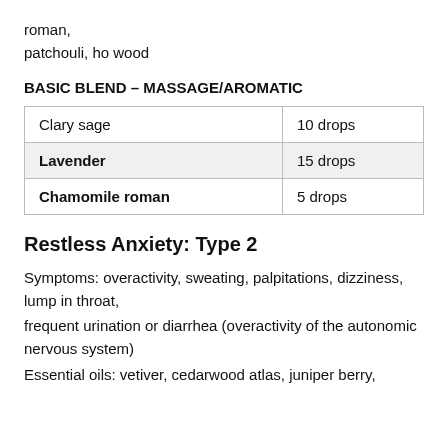roman,
patchouli, ho wood
BASIC BLEND – MASSAGE/AROMATIC
| Clary sage | 10 drops |
| Lavender | 15 drops |
| Chamomile roman | 5 drops |
Restless Anxiety: Type 2
Symptoms: overactivity, sweating, palpitations, dizziness, lump in throat,
frequent urination or diarrhea (overactivity of the autonomic nervous system)
Essential oils: vetiver, cedarwood atlas, juniper berry,